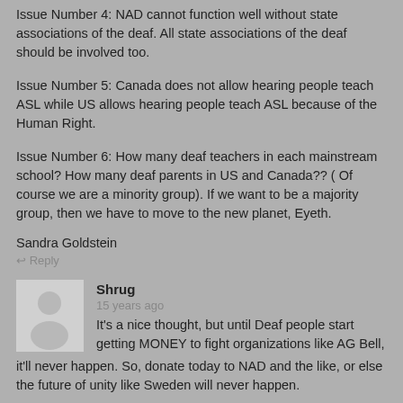Issue Number 4: NAD cannot function well without state associations of the deaf. All state associations of the deaf should be involved too.
Issue Number 5: Canada does not allow hearing people teach ASL while US allows hearing people teach ASL because of the Human Right.
Issue Number 6: How many deaf teachers in each mainstream school? How many deaf parents in US and Canada?? ( Of course we are a minority group). If we want to be a majority group, then we have to move to the new planet, Eyeth.
Sandra Goldstein
Reply
Shrug
15 years ago
It's a nice thought, but until Deaf people start getting MONEY to fight organizations like AG Bell, it'll never happen. So, donate today to NAD and the like, or else the future of unity like Sweden will never happen.
Sweden has less than 10 million people and more than 7.5 million live in cities.